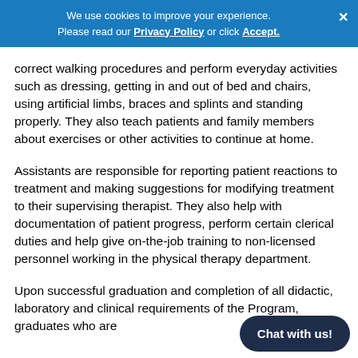We use cookies to improve your experience. Please read our Privacy Policy or click Accept.
correct walking procedures and perform everyday activities such as dressing, getting in and out of bed and chairs, using artificial limbs, braces and splints and standing properly. They also teach patients and family members about exercises or other activities to continue at home.
Assistants are responsible for reporting patient reactions to treatment and making suggestions for modifying treatment to their supervising therapist. They also help with documentation of patient progress, perform certain clerical duties and help give on-the-job training to non-licensed personnel working in the physical therapy department.
Upon successful graduation and completion of all didactic, laboratory and clinical requirements of the Program, graduates who are